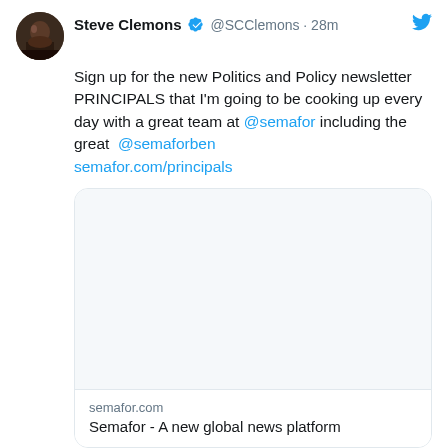[Figure (screenshot): Tweet by Steve Clemons showing avatar photo, verified badge, handle @SCClemons, 28m timestamp, Twitter bird icon, tweet text about signing up for PRINCIPALS newsletter at semafor, a link card preview showing semafor.com with title 'Semafor - A new global news platform', reply and like (4) action icons, and a 'Steve Clemons Retweeted' label at the bottom.]